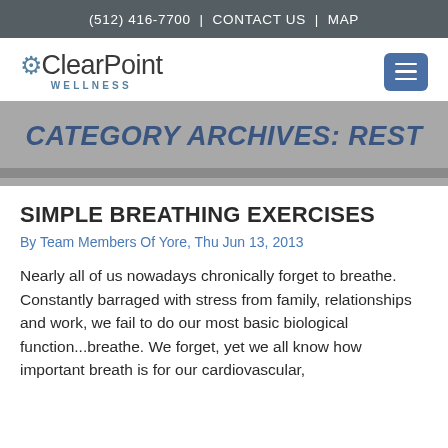(512) 416-7700  |  CONTACT US  |  MAP
[Figure (logo): ClearPoint Wellness logo with gear icon and navigation menu button]
CATEGORY ARCHIVES: REST
SIMPLE BREATHING EXERCISES
By Team Members Of Yore, Thu Jun 13, 2013
Nearly all of us nowadays chronically forget to breathe. Constantly barraged with stress from family, relationships and work, we fail to do our most basic biological function...breathe. We forget, yet we all know how important breath is for our cardiovascular,